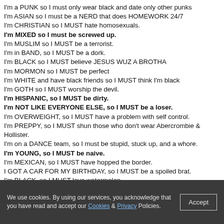I'm a PUNK so I must only wear black and date only other punks
I'm ASIAN so I must be a NERD that does HOMEWORK 24/7
I'm CHRISTIAN so I MUST hate homosexuals.
I'm MIXED so I must be screwed up.
I'm MUSLIM so I MUST be a terrorist.
I'm in BAND, so I MUST be a dork.
I'm BLACK so I MUST believe JESUS WUZ A BROTHA
I'm MORMON so I MUST be perfect
I'm WHITE and have black friends so I MUST think I'm black
I'm GOTH so I MUST worship the devil.
I'm HISPANIC, so I MUST be dirty.
I'm NOT LIKE EVERYONE ELSE, so I MUST be a loser.
I'm OVERWEIGHT, so I MUST have a problem with self control.
I'm PREPPY, so I MUST shun those who don't wear Abercrombie & Hollister.
I'm on a DANCE team, so I must be stupid, stuck up, and a whore.
I'm YOUNG, so I MUST be naive.
I'm MEXICAN, so I MUST have hopped the border.
I GOT A CAR FOR MY BIRTHDAY, so I MUST be a spoiled brat.
I'm BLACK, so I MUST love watermelon
I'm BI, so I MUST think every person I see is hot.
I'm an ASIAN GUY, so I MUST have a small penis.
I'm a GUY CHEERLEADER, so I MUST be gay.
I'm a PREP, so I MUST be rich.
I don't like the SUN so I MUST be an albino.
I have a lot of FRIENDS, so I MUST love to drink and party.
I wear tight PANTS and I'm a guy, so I MUST be emo.
We use cookies. By using our services, you acknowledge that you have read and accept our Cookies & Privacy Policies. Accept